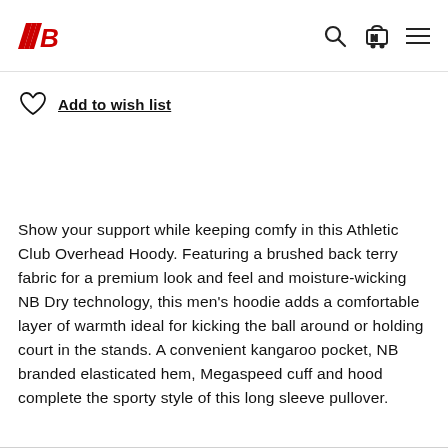New Balance header with logo and navigation icons
Add to wish list
Show your support while keeping comfy in this Athletic Club Overhead Hoody. Featuring a brushed back terry fabric for a premium look and feel and moisture-wicking NB Dry technology, this men's hoodie adds a comfortable layer of warmth ideal for kicking the ball around or holding court in the stands. A convenient kangaroo pocket, NB branded elasticated hem, Megaspeed cuff and hood complete the sporty style of this long sleeve pullover.